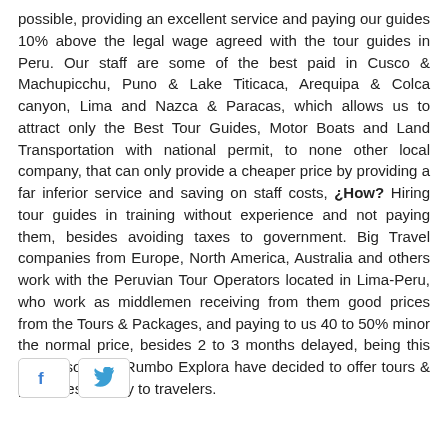possible, providing an excellent service and paying our guides 10% above the legal wage agreed with the tour guides in Peru. Our staff are some of the best paid in Cusco & Machupicchu, Puno & Lake Titicaca, Arequipa & Colca canyon, Lima and Nazca & Paracas, which allows us to attract only the Best Tour Guides, Motor Boats and Land Transportation with national permit, to none other local company, that can only provide a cheaper price by providing a far inferior service and saving on staff costs, ¿How? Hiring tour guides in training without experience and not paying them, besides avoiding taxes to government. Big Travel companies from Europe, North America, Australia and others work with the Peruvian Tour Operators located in Lima-Peru, who work as middlemen receiving from them good prices from the Tours & Packages, and paying to us 40 to 50% minor the normal price, besides 2 to 3 months delayed, being this the reason that Rumbo Explora have decided to offer tours & packages directly to travelers.
[Figure (other): Two social media share buttons: Facebook (blue 'f' icon) and Twitter (blue bird icon), each in a rounded rectangle border.]